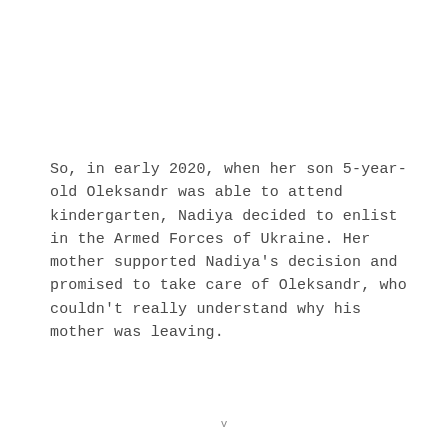So, in early 2020, when her son 5-year-old Oleksandr was able to attend kindergarten, Nadiya decided to enlist in the Armed Forces of Ukraine. Her mother supported Nadiya's decision and promised to take care of Oleksandr, who couldn't really understand why his mother was leaving.
v